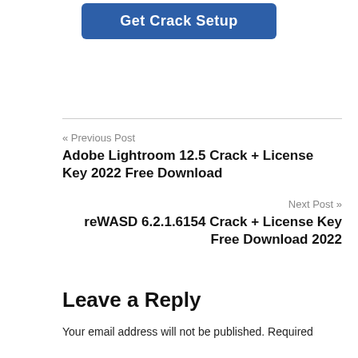[Figure (other): Blue button labeled 'Get Crack Setup']
« Previous Post
Adobe Lightroom 12.5 Crack + License Key 2022 Free Download
Next Post »
reWASD 6.2.1.6154 Crack + License Key Free Download 2022
Leave a Reply
Your email address will not be published. Required